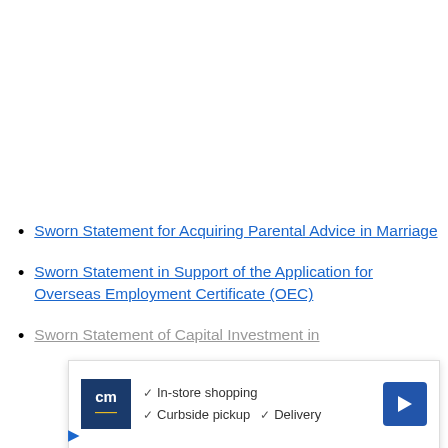Sworn Statement for Acquiring Parental Advice in Marriage
Sworn Statement in Support of the Application for Overseas Employment Certificate (OEC)
Sworn Statement of Capital Investment in
[Figure (other): Advertisement overlay showing CM (store logo) with checkmarks for In-store shopping, Curbside pickup, Delivery, and a blue navigation arrow icon. Below the ad are play and close (X) controls.]